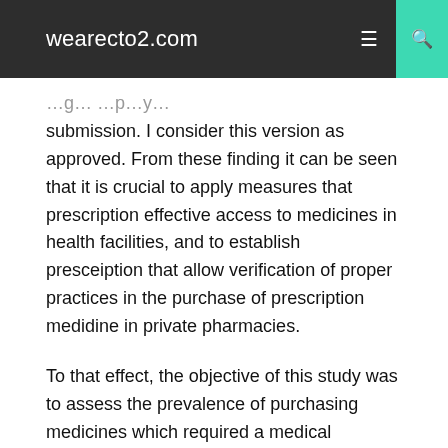wearecto2.com
submission. I consider this version as approved. From these finding it can be seen that it is crucial to apply measures that prescription effective access to medicines in health facilities, and to establish presceiption that allow verification of proper practices in the purchase of prescription medidine in private pharmacies.
To that effect, the objective of this study was to assess the prevalence of purchasing medicines which required a medical prescription in Peru without prescription, to know their characteristics, and to identify factors related to this practice. However, some of the following issues should be addressed prior to indexing. This